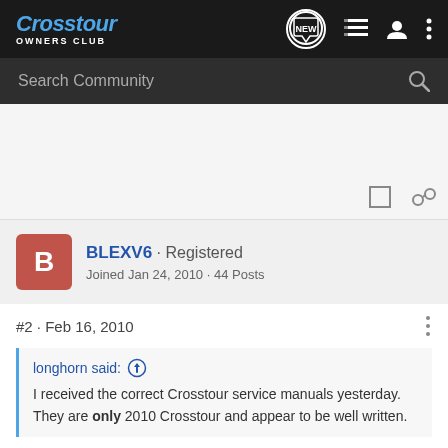Crosstour OWNERS CLUB
Search Community
BLEXV6 · Registered
Joined Jan 24, 2010 · 44 Posts
#2 · Feb 16, 2010
longhorn said:
I received the correct Crosstour service manuals yesterday. They are only 2010 Crosstour and appear to be well written.